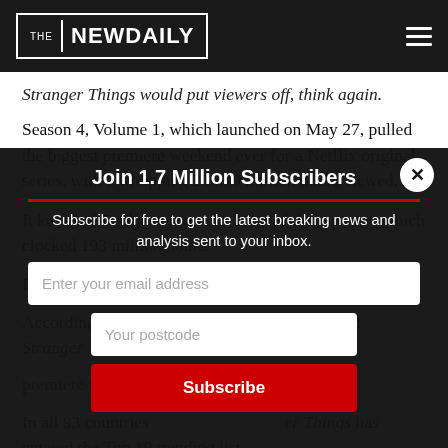THE NEW DAILY
Stranger Things would put viewers off, think again.
Season 4, Volume 1, which launched on May 27, pulled the biggest premiere weekend ever for a Netflix original series, with a whopping 286.79 million hours viewed.
It knocked Bridgerton season 2 out of the top spot, which clocked 193 million hours.
But the numbers don't stop there.
According to Deadline, this is the first season of Stranger Things to have the biggest premiere weekend...
In all 93 countries ... Stranger Things has entered the Top 10 trending list.
Join 1.7 Million Subscribers
Subscribe for free to get the latest breaking news and analysis sent to your inbox.
Enter your email address
Your postcode
Subscribe